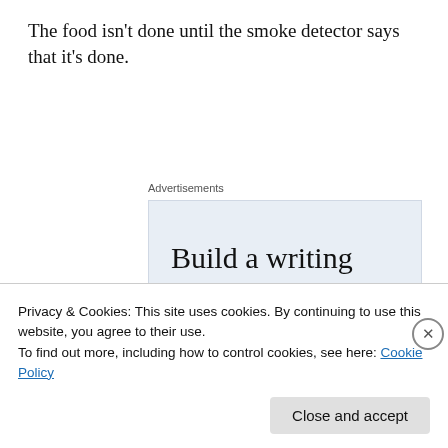The food isn't done until the smoke detector says that it's done.
[Figure (screenshot): WordPress advertisement banner with text 'Build a writing habit. Post on the go.' and a 'GET THE APP' call to action with WordPress logo]
Privacy & Cookies: This site uses cookies. By continuing to use this website, you agree to their use.
To find out more, including how to control cookies, see here: Cookie Policy
Close and accept